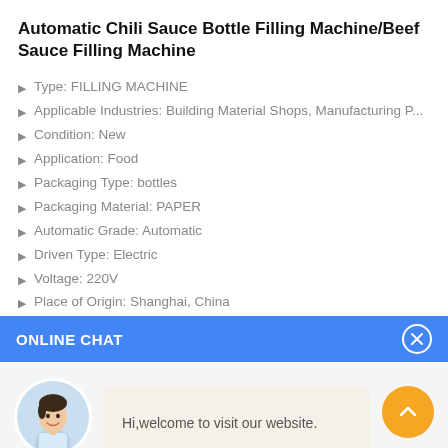Automatic Chili Sauce Bottle Filling Machine/Beef Sauce Filling Machine
Type: FILLING MACHINE
Applicable Industries: Building Material Shops, Manufacturing P...
Condition: New
Application: Food
Packaging Type: bottles
Packaging Material: PAPER
Automatic Grade: Automatic
Driven Type: Electric
Voltage: 220V
Place of Origin: Shanghai, China
ONLINE CHAT
[Figure (illustration): Online chat widget with avatar of a woman named Cilina, a message bubble saying 'Hi, welcome to visit our website.', and an orange scroll-up button.]
Hi,welcome to visit our website.
Cilina